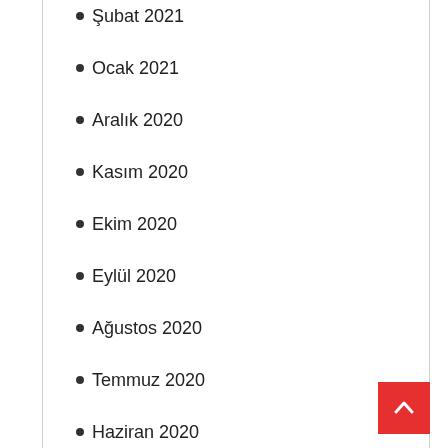Şubat 2021
Ocak 2021
Aralık 2020
Kasım 2020
Ekim 2020
Eylül 2020
Ağustos 2020
Temmuz 2020
Haziran 2020
Mayıs 2020
Nisan 2020
Mart 2020